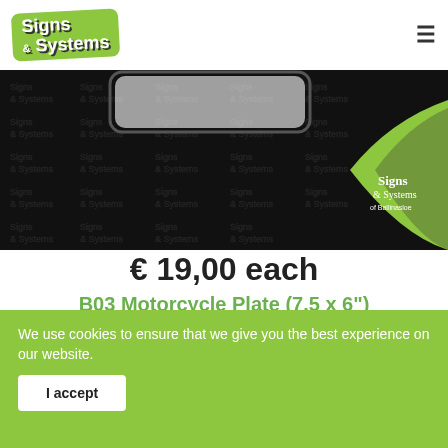[Figure (logo): Signs & Systems logo on green rotated background in top header]
[Figure (photo): Product banner image showing a motorcycle number plate on black background with Signs & Systems branding and green swoosh]
€ 19,00 each
B03 Motorcycle Plate (7.5 x 6")
We use cookies to ensure that we give you the best experience on our website.
[Figure (screenshot): Bottom partial view of product image with FREE circle badge and black Signs & Systems watermark background]